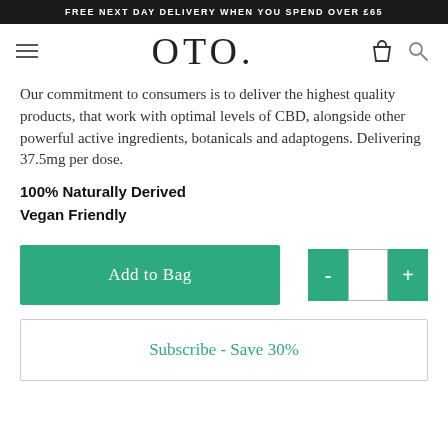FREE NEXT DAY DELIVERY WHEN YOU SPEND OVER £65
[Figure (logo): OTO brand logo — large serif letters O T O with a period/trademark, in a navbar with hamburger menu, bag icon, and search icon]
Our commitment to consumers is to deliver the highest quality products, that work with optimal levels of CBD, alongside other powerful active ingredients, botanicals and adaptogens. Delivering 37.5mg per dose.
100% Naturally Derived
Vegan Friendly
[Figure (screenshot): Add to Bag button (green) and quantity selector with minus and plus buttons]
[Figure (screenshot): Subscribe - Save 30% button with teal text and border outline]